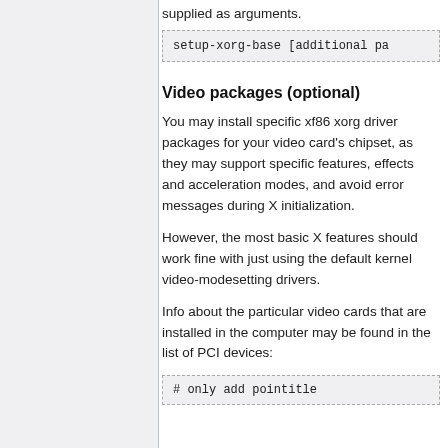supplied as arguments.
setup-xorg-base [additional pa
Video packages (optional)
You may install specific xf86 xorg driver packages for your video card's chipset, as they may support specific features, effects and acceleration modes, and avoid error messages during X initialization.
However, the most basic X features should work fine with just using the default kernel video-modesetting drivers.
Info about the particular video cards that are installed in the computer may be found in the list of PCI devices:
# only add pointitle